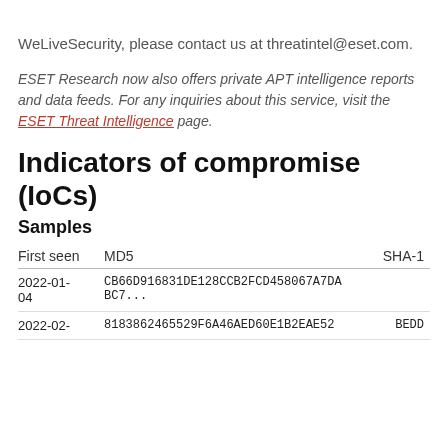WeLiveSecurity, please contact us at threatintel@eset.com.
ESET Research now also offers private APT intelligence reports and data feeds. For any inquiries about this service, visit the ESET Threat Intelligence page.
Indicators of compromise (IoCs)
Samples
| First seen | MD5 | SHA-1 |
| --- | --- | --- |
| 2022-01-04 | CB66D916831DE128CCB2FCD458067A7DABC7... | ... |
| 2022-02-... | 8183862465529F6A46AED60E1B2EAE52 | BEDD... |